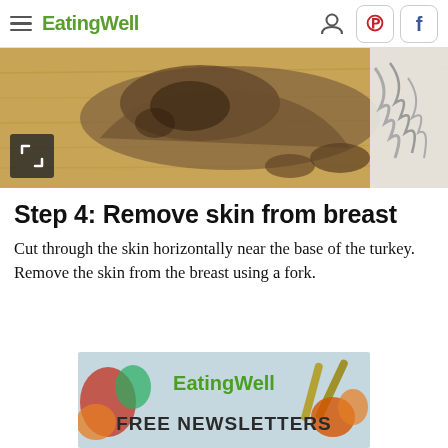EatingWell
[Figure (photo): Photo of a turkey carcass on a wooden cutting board with shredded meat visible on the right side]
Step 4: Remove skin from breast
Cut through the skin horizontally near the base of the turkey. Remove the skin from the breast using a fork.
[Figure (photo): EatingWell advertisement banner showing food items on a light blue background with text FREE NEWSLETTERS]